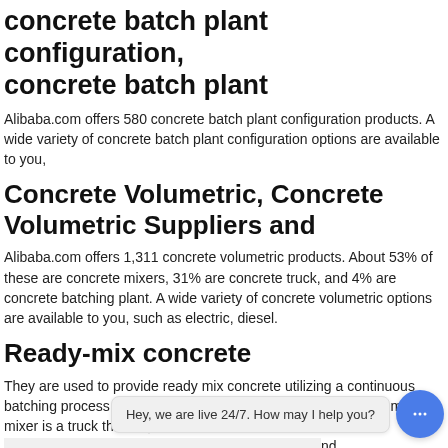concrete batch plant configuration, concrete batch plant
Alibaba.com offers 580 concrete batch plant configuration products. A wide variety of concrete batch plant configuration options are available to you,
Concrete Volumetric, Concrete Volumetric Suppliers and
Alibaba.com offers 1,311 concrete volumetric products. About 53% of these are concrete mixers, 31% are concrete truck, and 4% are concrete batching plant. A wide variety of concrete volumetric options are available to you, such as electric, diesel.
Ready-mix concrete
They are used to provide ready mix concrete utilizing a continuous batching process or metered concrete system. The volumetric mobile mixer is a truck that hol... nd add mixtures and color... ou. These trucks mix or batch the ready mix on the job site itself.